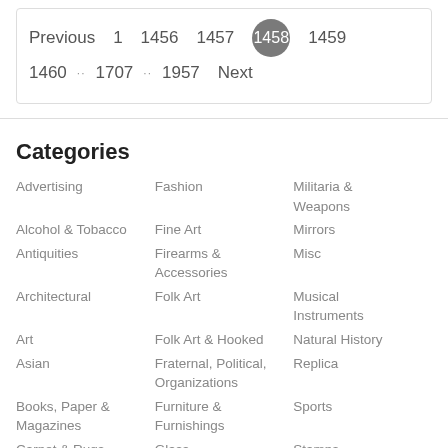Previous  1  1456  1457  1458  1459  1460  …  1707  …  1957  Next
Categories
Advertising
Alcohol & Tobacco
Antiquities
Architectural
Art
Asian
Books, Paper & Magazines
Carpet & Rugs
Ceramics & Porcelain
Fashion
Fine Art
Firearms & Accessories
Folk Art
Folk Art & Hooked
Fraternal, Political, Organizations
Furniture & Furnishings
Glass
Militaria & Weapons
Mirrors
Misc
Musical Instruments
Natural History
Replica
Sports
Stamps
Textiles, Clothing &